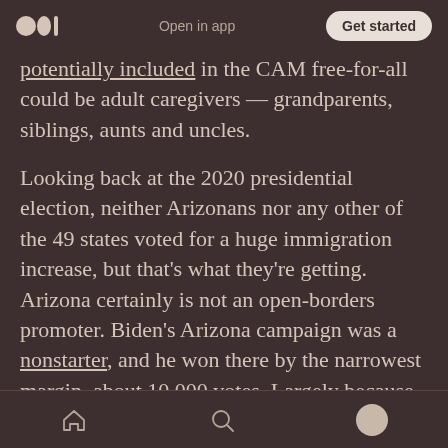Medium logo | Open in app | Get started
potentially included in the CAM free-for-all could be adult caregivers — grandparents, siblings, aunts and uncles.
Looking back at the 2020 presidential election, neither Arizonans nor any other of the 49 states voted for a huge immigration increase, but that's what they're getting. Arizona certainly is not an open-borders promoter. Biden's Arizona campaign was a nonstarter, and he won there by the narrowest margin, about 10,000 votes. Largely because President Trump turned off Arizona's Republicans for the first time since...
Home | Search | Profile